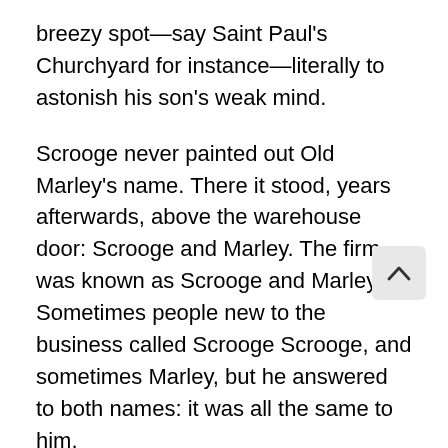breezy spot—say Saint Paul's Churchyard for instance—literally to astonish his son's weak mind.
Scrooge never painted out Old Marley's name. There it stood, years afterwards, above the warehouse door: Scrooge and Marley. The firm was known as Scrooge and Marley. Sometimes people new to the business called Scrooge Scrooge, and sometimes Marley, but he answered to both names: it was all the same to him.
Oh! but he was a tight-fisted hand at the grindstone, Scrooge! a squeezing, wrenching, grasping, scraping, clutching, covetous old sinner! Hard and sharp as flint, from which no steel had ever struck out generous fire; secret, and self-contained, and solitary as an oyster. The cold within him froze his old features, nipped his